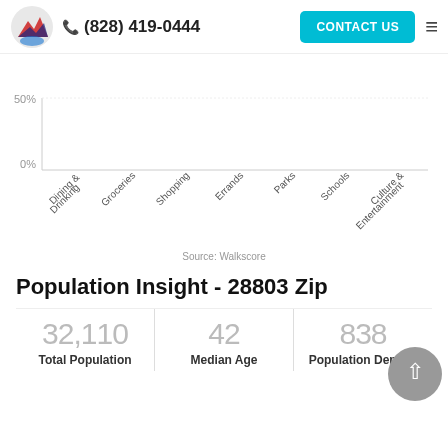(828) 419-0444  CONTACT US
[Figure (bar-chart): ]
Source: Walkscore
Population Insight - 28803 Zip
32,110  Total Population
42  Median Age
838  Population Density